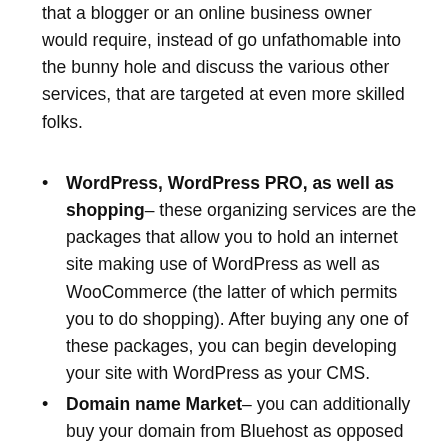that a blogger or an online business owner would require, instead of go unfathomable into the bunny hole and discuss the various other services, that are targeted at even more skilled folks.
WordPress, WordPress PRO, as well as shopping– these organizing services are the packages that allow you to hold an internet site making use of WordPress as well as WooCommerce (the latter of which permits you to do shopping). After buying any one of these packages, you can begin developing your site with WordPress as your CMS.
Domain name Market– you can additionally buy your domain from Bluehost as opposed to various other domain name registrars. Doing so will make it easier to point your domain to your host's name servers, given that you're making use of the same industry.
Email– once you have actually purchased your domain you can site...